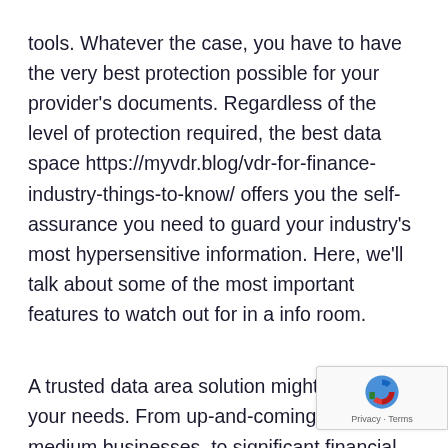tools. Whatever the case, you have to have the very best protection possible for your provider's documents. Regardless of the level of protection required, the best data space https://myvdr.blog/vdr-for-finance-industry-things-to-know/ offers you the self-assurance you need to guard your industry's most hypersensitive information. Here, we'll talk about some of the most important features to watch out for in a info room.
A trusted data area solution might meet all your needs. From up-and-coming small to medium businesses, to significant financial institutions, a good VDR will probably be your best bet. Startups can use one particular for their primary public offerings and fundraising. You have to select a program that convenient to use and comes with good reading us reviews. While cost is a crucial attention, other